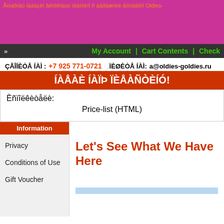Åiòàðíàò íàààçëí âëíëêíàúò ïëàíòèíî ñ àäðàæíèé âïíòàâëíî Oldies-
» My Account | Cart Contents | Check
ÇÂÎÍÈÒÅ ÍÀÌ : +7 925 771-0721   ÏÈØÈÒÅ ÍÀÌ: a@oldies-goldies.ru
ÍÀÅÀÈ ÍÀÏÞ ÏÈÅÀÑÒÈÍÓ!
Èñïîëêèòåëè: Price-list (HTML)
Information
Privacy
Conditions of Use
Gift Voucher
Let's See What We Have Here